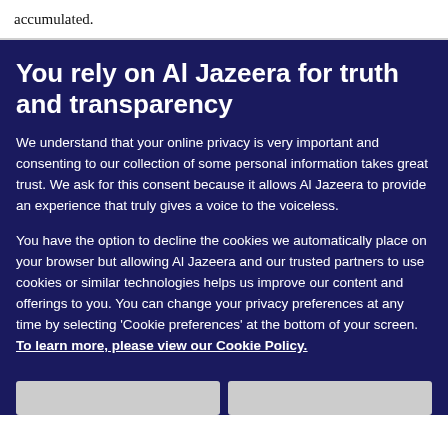accumulated.
You rely on Al Jazeera for truth and transparency
We understand that your online privacy is very important and consenting to our collection of some personal information takes great trust. We ask for this consent because it allows Al Jazeera to provide an experience that truly gives a voice to the voiceless.
You have the option to decline the cookies we automatically place on your browser but allowing Al Jazeera and our trusted partners to use cookies or similar technologies helps us improve our content and offerings to you. You can change your privacy preferences at any time by selecting 'Cookie preferences' at the bottom of your screen. To learn more, please view our Cookie Policy.